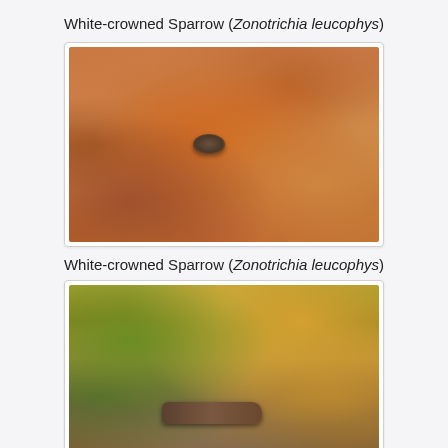White-crowned Sparrow (Zonotrichia leucophys)
[Figure (photo): White-crowned Sparrow bird standing among fallen autumn leaves, predominantly brown and orange tones]
White-crowned Sparrow (Zonotrichia leucophys)
[Figure (photo): White-crowned Sparrow bird partially hidden among green shrub leaves and a log on the ground with fallen leaves]